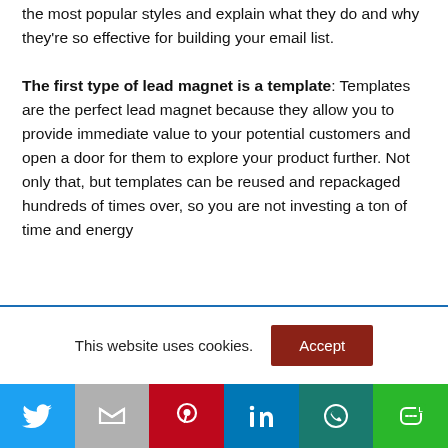the most popular styles and explain what they do and why they're so effective for building your email list.
The first type of lead magnet is a template: Templates are the perfect lead magnet because they allow you to provide immediate value to your potential customers and open a door for them to explore your product further. Not only that, but templates can be reused and repackaged hundreds of times over, so you are not investing a ton of time and energy
This website uses cookies.
[Figure (other): Social sharing buttons: Twitter, Gmail, Pinterest, LinkedIn, WhatsApp, LINE]